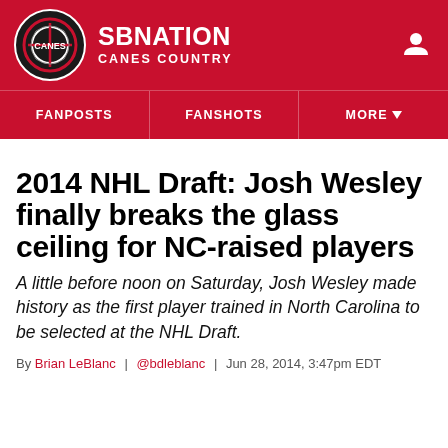SB NATION — CANES COUNTRY
2014 NHL Draft: Josh Wesley finally breaks the glass ceiling for NC-raised players
A little before noon on Saturday, Josh Wesley made history as the first player trained in North Carolina to be selected at the NHL Draft.
By Brian LeBlanc | @bdleblanc | Jun 28, 2014, 3:47pm EDT